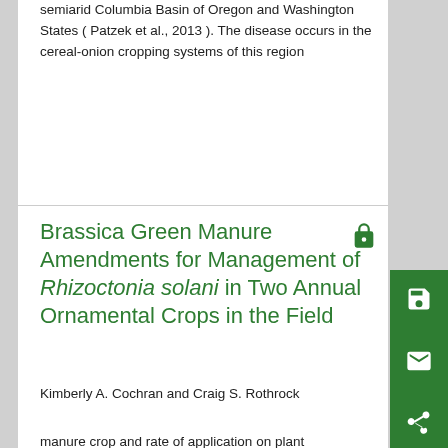semiarid Columbia Basin of Oregon and Washington States ( Patzek et al., 2013 ). The disease occurs in the cereal-onion cropping systems of this region
Brassica Green Manure Amendments for Management of Rhizoctonia solani in Two Annual Ornamental Crops in the Field
Kimberly A. Cochran and Craig S. Rothrock
manure crop and rate of application on plant